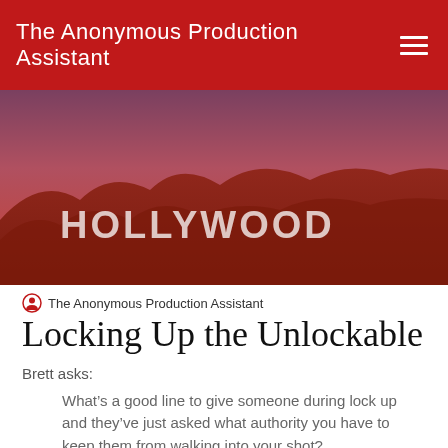The Anonymous Production Assistant
[Figure (photo): Blurry photo of the Hollywood sign on a hillside with reddish-purple hazy sky]
The Anonymous Production Assistant
Locking Up the Unlockable
Brett asks:
What’s a good line to give someone during lock up and they’ve just asked what authority you have to keep them from walking into your shot?
For the uninitiated (which is most of you; why else are you